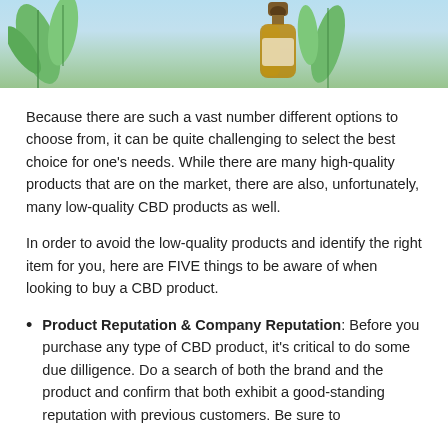[Figure (photo): Photo of a brown glass dropper bottle with green cannabis leaves against a light blue/green background, cropped at top of page.]
Because there are such a vast number different options to choose from, it can be quite challenging to select the best choice for one's needs. While there are many high-quality products that are on the market, there are also, unfortunately, many low-quality CBD products as well.
In order to avoid the low-quality products and identify the right item for you, here are FIVE things to be aware of when looking to buy a CBD product.
Product Reputation & Company Reputation: Before you purchase any type of CBD product, it's critical to do some due dilligence. Do a search of both the brand and the product and confirm that both exhibit a good-standing reputation with previous customers. Be sure to